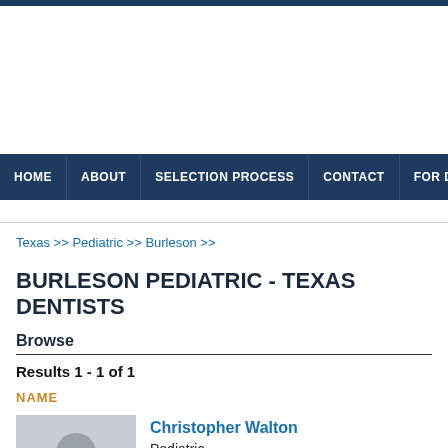HOME | ABOUT | SELECTION PROCESS | CONTACT | FOR DENTIS...
Texas >> Pediatric >> Burleson >>
BURLESON PEDIATRIC - TEXAS DENTISTS
Browse
Results 1 - 1 of 1
NAME
Christopher Walton
Pediatric
Burleson Pediatric Dentistry, Burleson